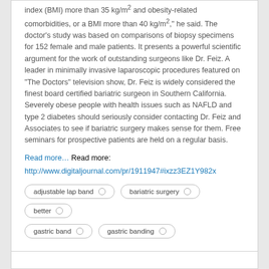index (BMI) more than 35 kg/m² and obesity-related comorbidities, or a BMI more than 40 kg/m²," he said. The doctor's study was based on comparisons of biopsy specimens for 152 female and male patients. It presents a powerful scientific argument for the work of outstanding surgeons like Dr. Feiz. A leader in minimally invasive laparoscopic procedures featured on "The Doctors" television show, Dr. Feiz is widely considered the finest board certified bariatric surgeon in Southern California. Severely obese people with health issues such as NAFLD and type 2 diabetes should seriously consider contacting Dr. Feiz and Associates to see if bariatric surgery makes sense for them. Free seminars for prospective patients are held on a regular basis.
Read more… Read more: http://www.digitaljournal.com/pr/1911947#ixzz3EZ1Y982x
adjustable lap band
bariatric surgery
better
gastric band
gastric banding